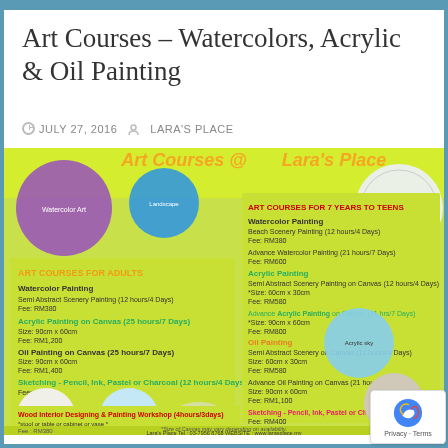Art Courses – Watercolors, Acrylic & Oil Painting
JULY 27, 2016    LARA'S PLACE
[Figure (infographic): Colorful promotional flyer for Art Courses at Lara's Place showing art course offerings for adults and children aged 7 years to teens, including Watercolor Painting, Acrylic Painting, Oil Painting, Sketching, and Wood Interior Designing & Painting Workshop. Yellow-green background with circular photos of artwork. Contact: Tel: 03-7956 8768, WEBSITE: www.larasplace.my]